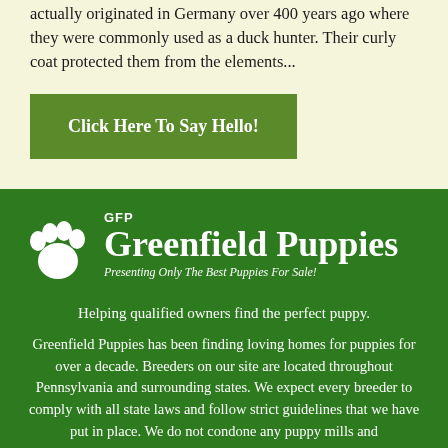actually originated in Germany over 400 years ago where they were commonly used as a duck hunter. Their curly coat protected them from the elements...
Click Here To Say Hello!
[Figure (logo): Greenfield Puppies logo with GFP text, white paw print icon, large bold text 'Greenfield Puppies', and italic tagline 'Presenting Only The Best Puppies For Sale!']
Helping qualified owners find the perfect puppy.
Greenfield Puppies has been finding loving homes for puppies for over a decade. Breeders on our site are located throughout Pennsylvania and surrounding states. We expect every breeder to comply with all state laws and follow strict guidelines that we have put in place. We do not condone any puppy mills and